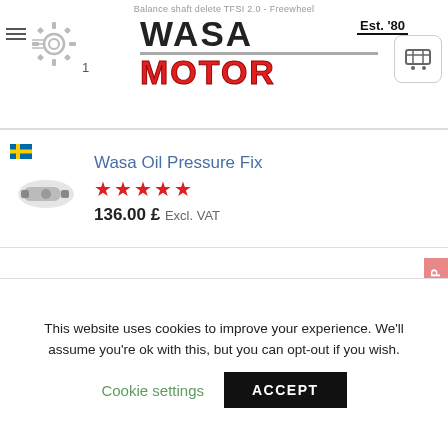Balance shaft delete TFSI 2.0 - Freewheel | Wasa Motor Est. '80
Wasa Oil Pressure Fix
★★★★★
136.00 £ Excl. VAT
Piston cooling jet
23.60 £ Excl. VAT
Wasa HPFP Cam follower
45.60 £ Excl. VAT
This website uses cookies to improve your experience. We'll assume you're ok with this, but you can opt-out if you wish.
Cookie settings  ACCEPT